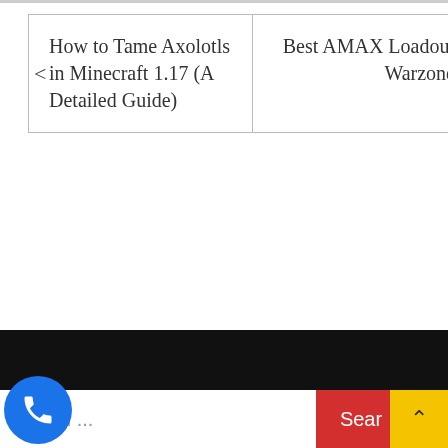| How to Tame Axolotls in Minecraft 1.17 (A Detailed Guide) | Best AMAX Loadout Warzone |
Call Us Now: +1-562-541-8823
Search ...  Search